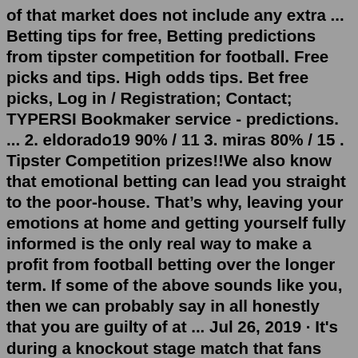of that market does not include any extra ... Betting tips for free, Betting predictions from tipster competition for football. Free picks and tips. High odds tips. Bet free picks, Log in / Registration; Contact; TYPERSI Bookmaker service - predictions. ... 2. eldorado19 90% / 11 3. miras 80% / 15 . Tipster Competition prizes!!We also know that emotional betting can lead you straight to the poor-house. That's why, leaving your emotions at home and getting yourself fully informed is the only real way to make a profit from football betting over the longer term. If some of the above sounds like you, then we can probably say in all honestly that you are guilty of at ... Jul 26, 2019 · It's during a knockout stage match that fans can learn the hard way about the 90-minute draw. What does this mean? It means the 1x2 market you are playing will have a result after 90 minutes are played, including any stoppage time — a win for one team, a win for the other team or a draw. The result of that market does not include any extra ... Betting Tips 90% profit 45 like action VIPTips Log in Contact...